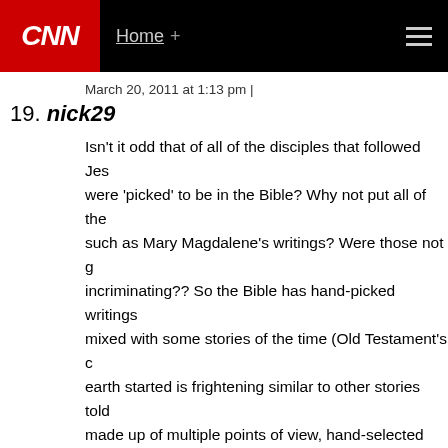CNN | Home +
March 20, 2011 at 1:13 pm |
19. nick29

Isn't it odd that of all of the disciples that followed Jesus were 'picked' to be in the Bible? Why not put all of the such as Mary Magdalene's writings? Were those not good incriminating?? So the Bible has hand-picked writings mixed with some stories of the time (Old Testament's earth started is frightening similar to other stories told made up of multiple points of view, hand-selected and inconsistently from church to church. Truth, Science?
March 20, 2011 at 1:12 pm |
20. Don

It is amazing all the idiots here quoting phrases from. Still, hopefully they are correct and God will murder th week for something their Grandpa did.